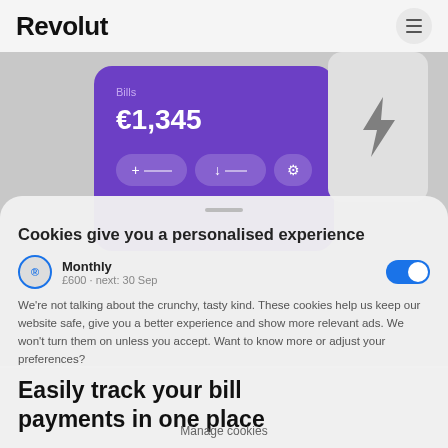Revolut
[Figure (screenshot): Revolut app screenshot showing a purple Bills card with €1,345 amount and action buttons, with a lightning bolt icon on a card in the background]
Cookies give you a personalised experience
We're not talking about the crunchy, tasty kind. These cookies help us keep our website safe, give you a better experience and show more relevant ads. We won't turn them on unless you accept. Want to know more or adjust your preferences?
Allow all cookies
Reject all cookies
Easily track your bill payments in one place
Manage cookies